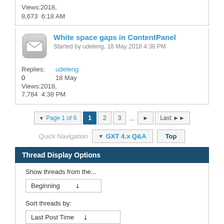Views: 2018,
8,673  6:18 AM
White space gaps in ContentPanel
Started by udeleng, 18 May 2018 4:38 PM
Replies: udeleng
0       18 May
Views: 2018,
7,784  4:38 PM
Page 1 of 6  1  2  3  ...  Last
Quick Navigation  GXT 4.x Q&A  Top
Thread Display Options
Show threads from the...
Beginning
Sort threads by:
Last Post Time